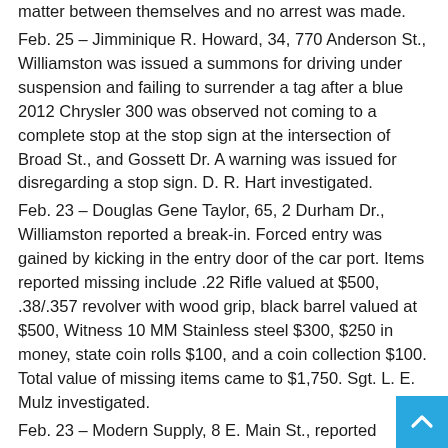matter between themselves and no arrest was made.
Feb. 25 – Jimminique R. Howard, 34, 770 Anderson St., Williamston was issued a summons for driving under suspension and failing to surrender a tag after a blue 2012 Chrysler 300 was observed not coming to a complete stop at the stop sign at the intersection of Broad St., and Gossett Dr. A warning was issued for disregarding a stop sign. D. R. Hart investigated.
Feb. 23 – Douglas Gene Taylor, 65, 2 Durham Dr., Williamston reported a break-in. Forced entry was gained by kicking in the entry door of the car port. Items reported missing include .22 Rifle valued at $500, .38/.357 revolver with wood grip, black barrel valued at $500, Witness 10 MM Stainless steel $300, $250 in money, state coin rolls $100, and a coin collection $100. Total value of missing items came to $1,750. Sgt. L. E. Mulz investigated.
Feb. 23 – Modern Supply, 8 E. Main St., reported someone broke into the basement of the building, possibly with a